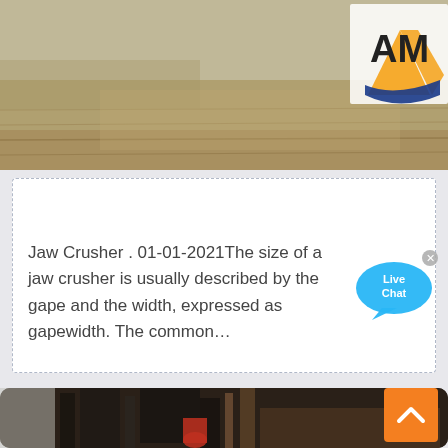[Figure (photo): Top industrial/quarry site photo with sandy ground and AM logo visible in top right corner]
specifications of jaw crusher
Jaw Crusher . 01-01-2021The size of a jaw crusher is usually described by the gape and the width, expressed as gapewidth. The common…
[Figure (photo): Bottom photo showing industrial jaw crusher machinery in a factory/warehouse setting. Orange back-to-top button in bottom right.]